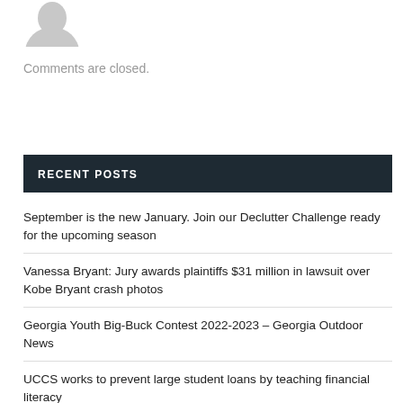[Figure (illustration): Gray avatar/profile image placeholder showing top of a person silhouette]
Comments are closed.
RECENT POSTS
September is the new January. Join our Declutter Challenge ready for the upcoming season
Vanessa Bryant: Jury awards plaintiffs $31 million in lawsuit over Kobe Bryant crash photos
Georgia Youth Big-Buck Contest 2022-2023 – Georgia Outdoor News
UCCS works to prevent large student loans by teaching financial literacy